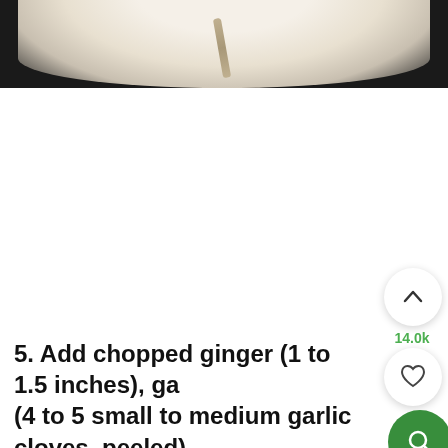[Figure (photo): Top portion of a white ceramic bowl or mortar with a spoon handle visible, on a dark background, viewed from above]
5. Add chopped ginger (1 to 1.5 inches), ga (4 to 5 small to medium garlic cloves, peeled) and 1 to 2 green chilies (green peppers) in a